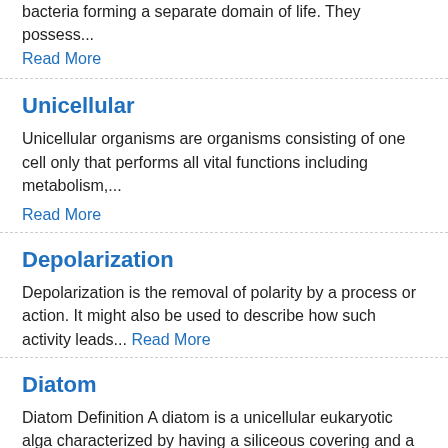bacteria forming a separate domain of life. They possess...
Read More
Unicellular
Unicellular organisms are organisms consisting of one cell only that performs all vital functions including metabolism,...
Read More
Depolarization
Depolarization is the removal of polarity by a process or action. It might also be used to describe how such activity leads...
Read More
Diatom
Diatom Definition A diatom is a unicellular eukaryotic alga characterized by having a siliceous covering and a